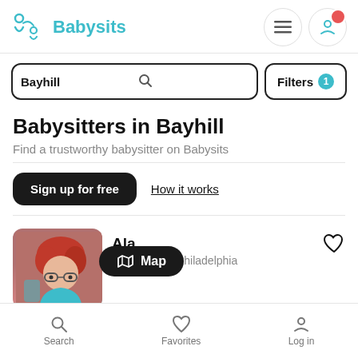Babysits
Bayhill
Filters 1
Babysitters in Bayhill
Find a trustworthy babysitter on Babysits
Sign up for free
How it works
[Figure (photo): Profile photo of a person with red curly hair and glasses]
Ala...
Babysitter in Philadelphia
Map
Search   Favorites   Log in